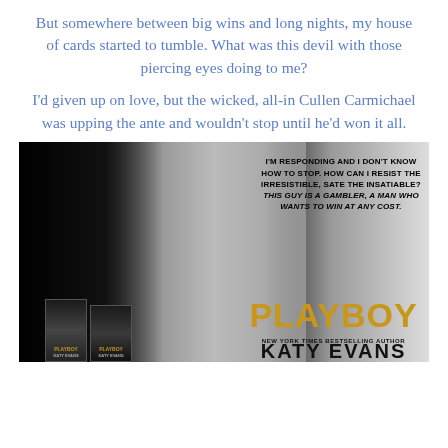But somewhere between big wins and long nights, my house of cards started to tumble. What was this devil with those piercing eyes doing to me?
I'd given up on love, but the wicked, all-in Cullen Carmichael was upping the ante and wouldn't stop until he'd won it all.
[Figure (photo): Black and white romantic photo of a couple in an intimate pose. Woman with long hair wearing black lace lingerie leaning against a man in dark suit. Overlaid text reads: I'M RESPONDING AND I DON'T KNOW HOW TO STOP. HOW CAN I RESIST THE IRRESISTIBLE, SATE THE INSATIABLE? THIS GUY IS A GAMBLER, A MAN WHO WANTS TO WIN AT ANY COST. Bottom right shows PLAYBOY title in gold, NEW YORK TIMES BESTSELLING AUTHOR, KATY EVANS in black bold text. Bottom left shows stacked book covers.]